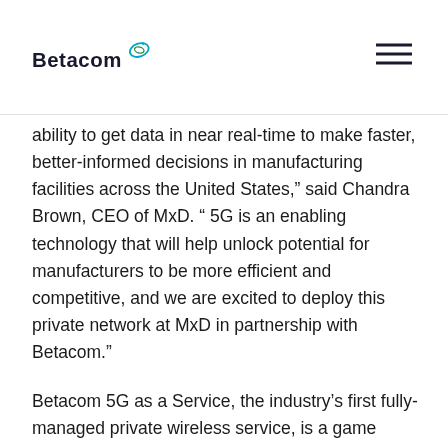Betacom
ability to get data in near real-time to make faster, better-informed decisions in manufacturing facilities across the United States,” said Chandra Brown, CEO of MxD. “ 5G is an enabling technology that will help unlock potential for manufacturers to be more efficient and competitive, and we are excited to deploy this private network at MxD in partnership with Betacom.”
Betacom 5G as a Service, the industry’s first fully-managed private wireless service, is a game changer for many U.S. enterprises with access to cost-effective, high-performance 5G networks designed, deployed and managed by one of the most trusted names in wireless networking. Betacom has a long and successful history